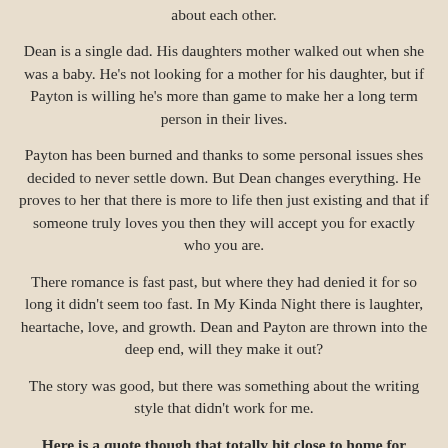about each other.
Dean is a single dad. His daughters mother walked out when she was a baby. He's not looking for a mother for his daughter, but if Payton is willing he's more than game to make her a long term person in their lives.
Payton has been burned and thanks to some personal issues shes decided to never settle down. But Dean changes everything. He proves to her that there is more to life then just existing and that if someone truly loves you then they will accept you for exactly who you are.
There romance is fast past, but where they had denied it for so long it didn't seem too fast. In My Kinda Night there is laughter, heartache, love, and growth. Dean and Payton are thrown into the deep end, will they make it out?
The story was good, but there was something about the writing style that didn't work for me.
Here is a quote though that totally hit close to home for